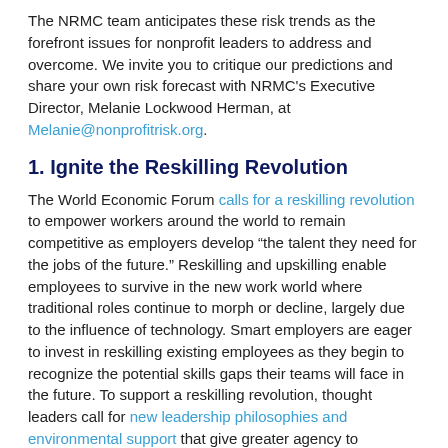The NRMC team anticipates these risk trends as the forefront issues for nonprofit leaders to address and overcome. We invite you to critique our predictions and share your own risk forecast with NRMC's Executive Director, Melanie Lockwood Herman, at Melanie@nonprofitrisk.org.
1. Ignite the Reskilling Revolution
The World Economic Forum calls for a reskilling revolution to empower workers around the world to remain competitive as employers develop “the talent they need for the jobs of the future.” Reskilling and upskilling enable employees to survive in the new work world where traditional roles continue to morph or decline, largely due to the influence of technology. Smart employers are eager to invest in reskilling existing employees as they begin to recognize the potential skills gaps their teams will face in the future. To support a reskilling revolution, thought leaders call for new leadership philosophies and environmental support that give greater agency to individual team members. As a global collective, individual contributors have already demonstrated their self-efficacy and desire to learn and apply new skills in their existing roles (upskilling) and in new roles (reskilling).